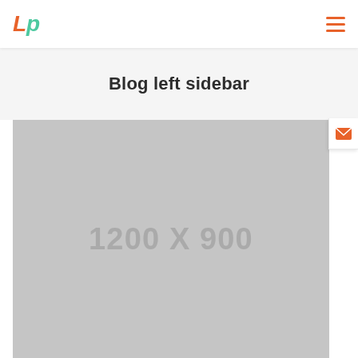Lp — Blog left sidebar
Blog left sidebar
[Figure (photo): Gray placeholder image with dimensions label '1200 X 900']